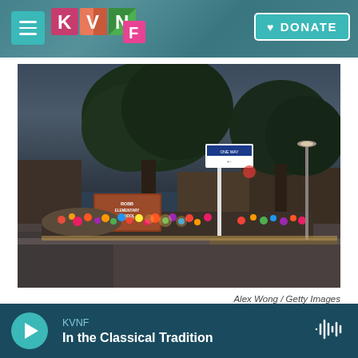KVNF — DONATE
[Figure (photo): Memorial at Robb Elementary School with flowers, signs, and tributes spread across the sidewalk and lawn at dusk, large trees visible in background. A sign reading 'ROBB ELEMENTARY SCHOOL' is visible among the tributes.]
Alex Wong / Getty Images
KVNF — In the Classical Tradition